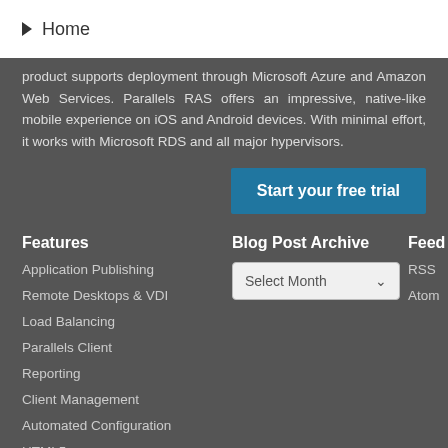Home
product supports deployment through Microsoft Azure and Amazon Web Services. Parallels RAS offers an impressive, native-like mobile experience on iOS and Android devices. With minimal effort, it works with Microsoft RDS and all major hypervisors.
Start your free trial
Features
Blog Post Archive
Feed
Application Publishing
Remote Desktops & VDI
Load Balancing
Parallels Client
Reporting
Client Management
Automated Configuration
HTML5
Select Month
RSS
Atom